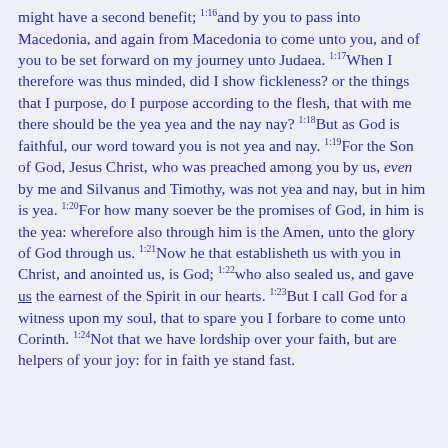might have a second benefit; 1:16and by you to pass into Macedonia, and again from Macedonia to come unto you, and of you to be set forward on my journey unto Judaea. 1:17When I therefore was thus minded, did I show fickleness? or the things that I purpose, do I purpose according to the flesh, that with me there should be the yea yea and the nay nay? 1:18But as God is faithful, our word toward you is not yea and nay. 1:19For the Son of God, Jesus Christ, who was preached among you by us, even by me and Silvanus and Timothy, was not yea and nay, but in him is yea. 1:20For how many soever be the promises of God, in him is the yea: wherefore also through him is the Amen, unto the glory of God through us. 1:21Now he that establisheth us with you in Christ, and anointed us, is God; 1:22who also sealed us, and gave us the earnest of the Spirit in our hearts. 1:23But I call God for a witness upon my soul, that to spare you I forbare to come unto Corinth. 1:24Not that we have lordship over your faith, but are helpers of your joy: for in faith ye stand fast.